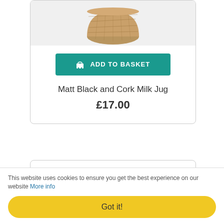[Figure (photo): Cork milk jug product photo on white background]
ADD TO BASKET
Matt Black and Cork Milk Jug
£17.00
[Figure (photo): Second product image placeholder]
This website uses cookies to ensure you get the best experience on our website More info
Got it!